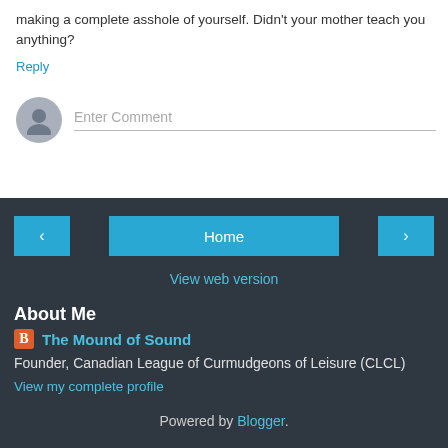making a complete asshole of yourself. Didn't your mother teach you anything?
Reply
[Figure (other): User avatar placeholder icon (grey circle with silhouette) next to an Enter Comment text input field]
Home navigation row with back arrow, Home button, and forward arrow
View web version
About Me
The Mound of Sound
Founder, Canadian League of Curmudgeons of Leisure (CLCL)
View my complete profile
Powered by Blogger.